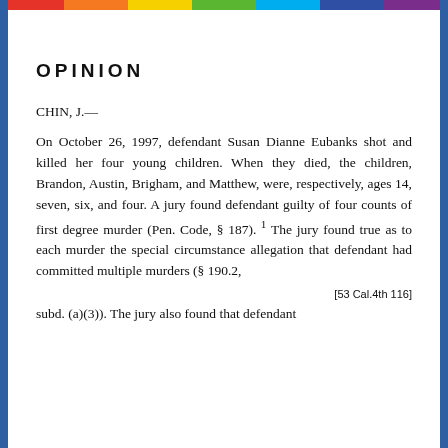OPINION
CHIN, J.—
On October 26, 1997, defendant Susan Dianne Eubanks shot and killed her four young children. When they died, the children, Brandon, Austin, Brigham, and Matthew, were, respectively, ages 14, seven, six, and four. A jury found defendant guilty of four counts of first degree murder (Pen. Code, § 187).¹ The jury found true as to each murder the special circumstance allegation that defendant had committed multiple murders (§ 190.2,
[53 Cal.4th 116]
subd. (a)(3)). The jury also found that defendant